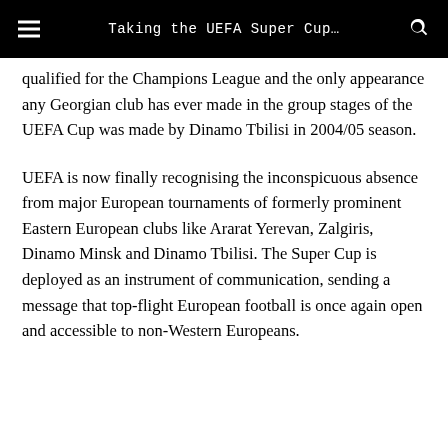Taking the UEFA Super Cup…
qualified for the Champions League and the only appearance any Georgian club has ever made in the group stages of the UEFA Cup was made by Dinamo Tbilisi in 2004/05 season.
UEFA is now finally recognising the inconspicuous absence from major European tournaments of formerly prominent Eastern European clubs like Ararat Yerevan, Zalgiris, Dinamo Minsk and Dinamo Tbilisi. The Super Cup is deployed as an instrument of communication, sending a message that top-flight European football is once again open and accessible to non-Western Europeans.